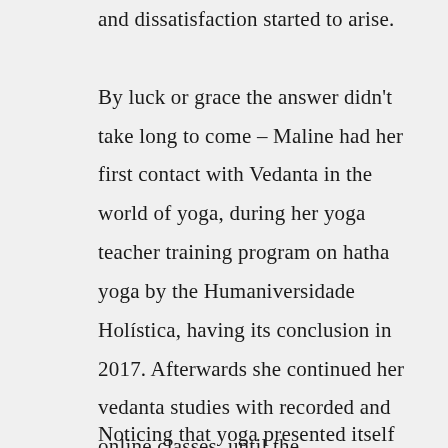and dissatisfaction started to arise.

By luck or grace the answer didn't take long to come – Maline had her first contact with Vedanta in the world of yoga, during her yoga teacher training program on hatha yoga by the Humaniversidade Holística, having its conclusion in 2017. Afterwards she continued her vedanta studies with recorded and online classes, until the opportunitiy to come to India took place.
Noticing that yoga presented itself